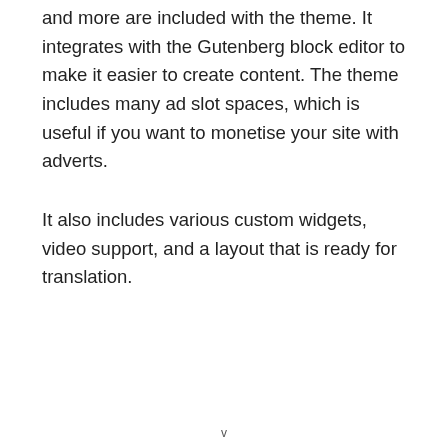and more are included with the theme. It integrates with the Gutenberg block editor to make it easier to create content. The theme includes many ad slot spaces, which is useful if you want to monetise your site with adverts.
It also includes various custom widgets, video support, and a layout that is ready for translation.
v